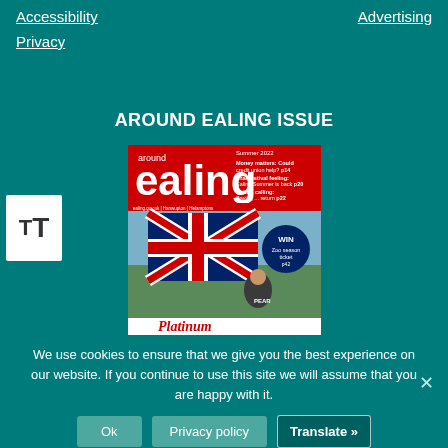Accessibility   Advertising
Privacy
AROUND EALING ISSUE
[Figure (photo): Cover of Around Ealing magazine, Summer 2022 issue. Shows a child waving a Union Jack flag at an outdoor event. Red masthead with 'around ealing' logo. Text includes 'Money matters: Could credit union help? p14', 'Thai festival feeling: Ealing Summer is back p20', 'Nature calling: Saving Belfry, Belvim's return p22'. Circle badge: WIN Zoo season ticket p42. Bottom text: Platinum]
We use cookies to ensure that we give you the best experience on our website. If you continue to use this site we will assume that you are happy with it.
Ok   Privacy policy   Translate »